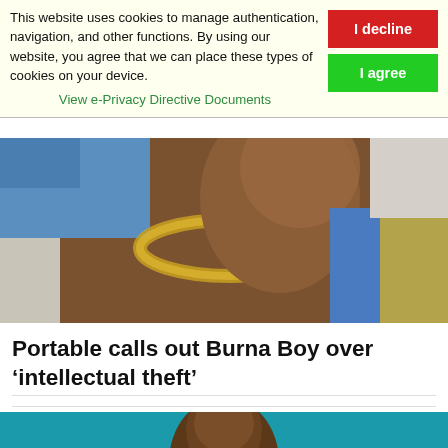This website uses cookies to manage authentication, navigation, and other functions. By using our website, you agree that we can place these types of cookies on your device. View e-Privacy Directive Documents
[Figure (photo): Close-up photo of a person with gold chain jewelry against a light background, cropped to show neck and lower face]
Portable calls out Burna Boy over ‘intellectual theft’
[Figure (photo): Photo of a man against a teal/turquoise background, upper body visible, looking downward]